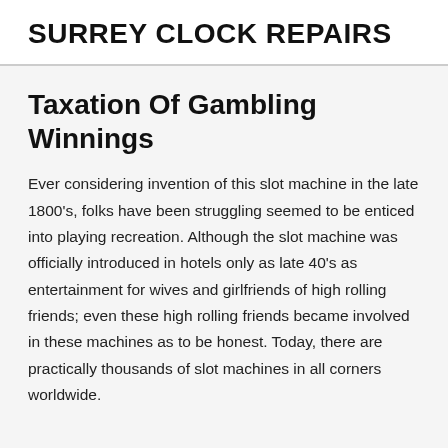SURREY CLOCK REPAIRS
Taxation Of Gambling Winnings
Ever considering invention of this slot machine in the late 1800's, folks have been struggling seemed to be enticed into playing recreation. Although the slot machine was officially introduced in hotels only as late 40's as entertainment for wives and girlfriends of high rolling friends; even these high rolling friends became involved in these machines as to be honest. Today, there are practically thousands of slot machines in all corners worldwide.